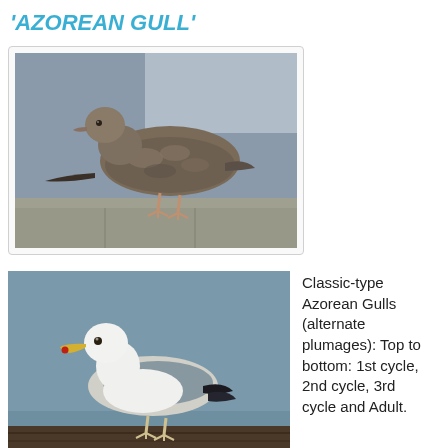'AZOREAN GULL'
[Figure (photo): 1st cycle Azorean Gull standing on a concrete ledge, brownish-grey juvenile plumage, blurry grey background]
[Figure (photo): Adult or older cycle Azorean Gull standing on a wooden surface, white head and underparts, grey mantle, yellow bill with red spot, blue-grey sky background]
Classic-type Azorean Gulls (alternate plumages): Top to bottom: 1st cycle, 2nd cycle, 3rd cycle and Adult.